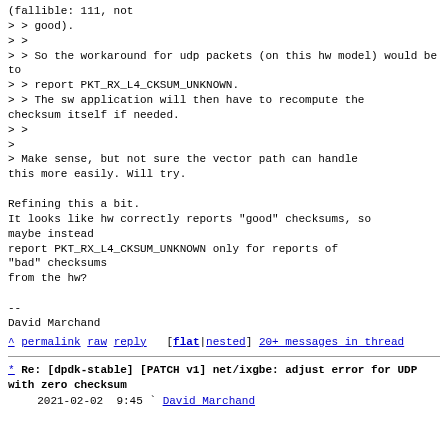(fallible: 111, not
> > good).
> >
> > So the workaround for udp packets (on this hw model) would be to
> > report PKT_RX_L4_CKSUM_UNKNOWN.
> > The sw application will then have to recompute the checksum itself if needed.
> >
>
> Make sense, but not sure the vector path can handle this more easily. Will try.

Refining this a bit.
It looks like hw correctly reports "good" checksums, so maybe instead
report PKT_RX_L4_CKSUM_UNKNOWN only for reports of "bad" checksums
from the hw?

--
David Marchand
^ permalink raw reply   [flat|nested] 20+ messages in thread
* Re: [dpdk-stable] [PATCH v1] net/ixgbe: adjust error for UDP with zero checksum
  2021-02-02  9:45 ` David Marchand